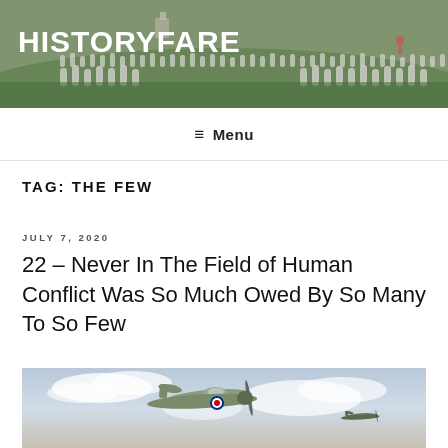HISTORYFARE
≡ Menu
TAG: THE FEW
JULY 7, 2020
22 – Never In The Field of Human Conflict Was So Much Owed By So Many To So Few
[Figure (photo): WWII era fighter plane (Spitfire or Hurricane) in flight against a cloudy sky, with another aircraft visible in the background]